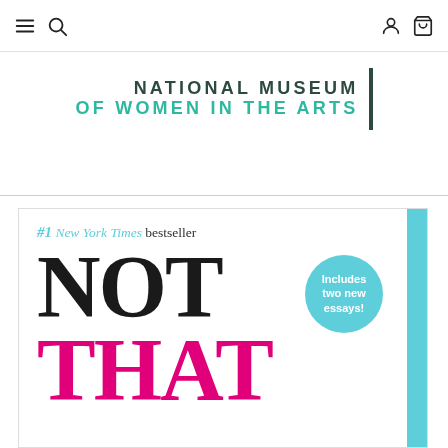Navigation bar with menu, search, account, and cart icons
[Figure (logo): National Museum of Women in the Arts logo with dark teal and teal green text and vertical bar]
[Figure (photo): Book cover: #1 New York Times bestseller NOT THAT – includes two new essays, with large black NOT and magenta THAT text on white background, teal circle badge, teal right strip]